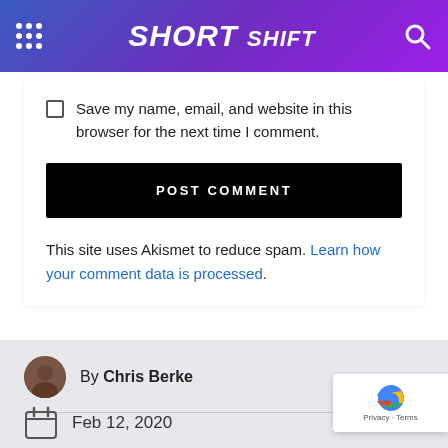SHORT SHIFT
Save my name, email, and website in this browser for the next time I comment.
POST COMMENT
This site uses Akismet to reduce spam. Learn how your comment data is processed.
By Chris Berke
Feb 12, 2020